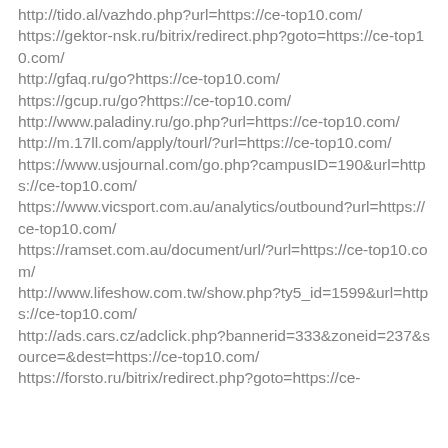http://tido.al/vazhdo.php?url=https://ce-top10.com/
https://gektor-nsk.ru/bitrix/redirect.php?goto=https://ce-top10.com/
http://gfaq.ru/go?https://ce-top10.com/
https://gcup.ru/go?https://ce-top10.com/
http://www.paladiny.ru/go.php?url=https://ce-top10.com/
http://m.17ll.com/apply/tourl/?url=https://ce-top10.com/
https://www.usjournal.com/go.php?campusID=190&url=https://ce-top10.com/
https://www.vicsport.com.au/analytics/outbound?url=https://ce-top10.com/
https://ramset.com.au/document/url/?url=https://ce-top10.com/
http://www.lifeshow.com.tw/show.php?ty5_id=1599&url=https://ce-top10.com/
http://ads.cars.cz/adclick.php?bannerid=333&zoneid=237&source=&dest=https://ce-top10.com/
https://forsto.ru/bitrix/redirect.php?goto=https://ce-